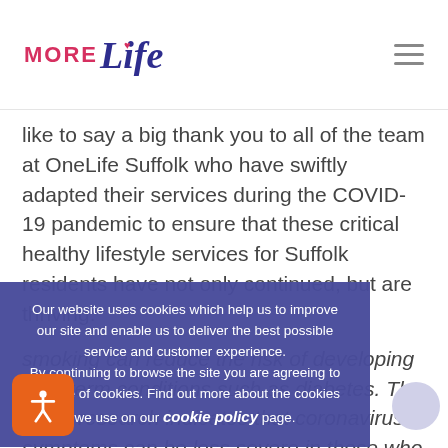MORE Life — navigation header with hamburger menu
like to say a big thank you to all of the team at OneLife Suffolk who have swiftly adapted their services during the COVID-19 pandemic to ensure that these critical healthy lifestyle services for Suffolk residents have not only continued, but are thriving.”
Maintaining a healthy weight and quitting smoking can reduce the risk of developing long-term conditions such as diabetes. The latest research indicates that coronavirus symptoms can be less severe in those who do not smoke and have a healthy
Our website uses cookies which help us to improve our site and enable us to deliver the best possible service and customer experience.
By continuing to browse the site you are agreeing to our use of cookies. Find out more about the cookies we use on our cookie policy page.